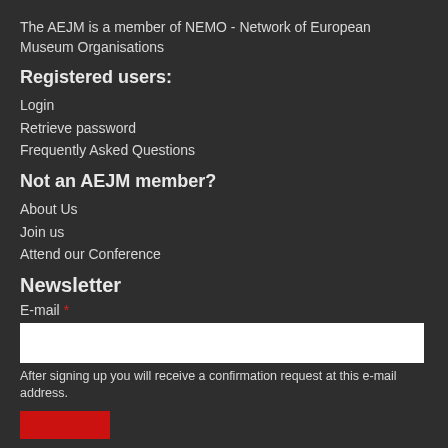The AEJM is a member of NEMO - Network of European Museum Organisations
Registered users:
Login
Retrieve password
Frequently Asked Questions
Not an AEJM member?
About Us
Join us
Attend our Conference
Newsletter
E-mail *
After signing up you will receive a confirmation request at this e-mail address.